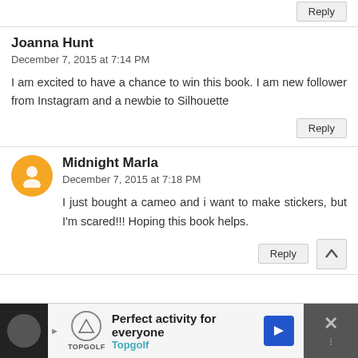Reply
Joanna Hunt
December 7, 2015 at 7:14 PM
I am excited to have a chance to win this book. I am new follower from Instagram and a newbie to Silhouette
Reply
Midnight Marla
December 7, 2015 at 7:18 PM
I just bought a cameo and i want to make stickers, but I'm scared!!! Hoping this book helps.
Reply
[Figure (infographic): Advertisement bar for Topgolf: 'Perfect activity for everyone - Topgolf' with logo and arrow icon]